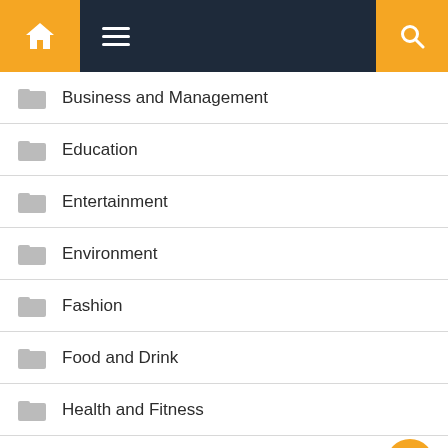Navigation header with home, menu, and search icons
Business and Management
Education
Entertainment
Environment
Fashion
Food and Drink
Health and Fitness
Home Improvement
Jobs and Careers
Lifestyle (partial)